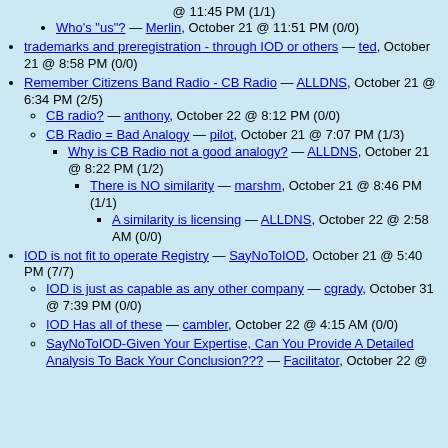@ 11:45 PM (1/1)
Who's "us"? — Merlin, October 21 @ 11:51 PM (0/0)
trademarks and preregistration - through IOD or others — ted, October 21 @ 8:58 PM (0/0)
Remember Citizens Band Radio - CB Radio — ALLDNS, October 21 @ 6:34 PM (2/5)
CB radio? — anthony, October 22 @ 8:12 PM (0/0)
CB Radio = Bad Analogy — pilot, October 21 @ 7:07 PM (1/3)
Why is CB Radio not a good analogy? — ALLDNS, October 21 @ 8:22 PM (1/2)
There is NO similarity — marshm, October 21 @ 8:46 PM (1/1)
A similarity is licensing — ALLDNS, October 22 @ 2:58 AM (0/0)
IOD is not fit to operate Registry — SayNoToIOD, October 21 @ 5:40 PM (7/7)
IOD is just as capable as any other company — cgrady, October 31 @ 7:39 PM (0/0)
IOD Has all of these — cambler, October 22 @ 4:15 AM (0/0)
SayNoToIOD-Given Your Expertise, Can You Provide A Detailed Analysis To Back Your Conclusion??? — Facilitator, October 22 @